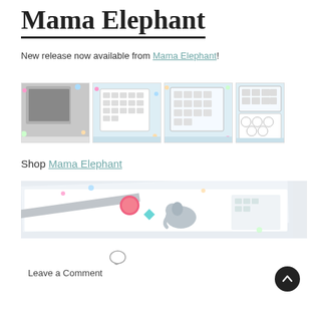Mama Elephant
New release now available from Mama Elephant!
[Figure (photo): Four product thumbnail images showing Mama Elephant stamp sets and dies on a blue/white background]
Shop Mama Elephant
[Figure (photo): Hero image showing a crafted card with an elephant, pink pom pom, and colorful details on a white background]
Leave a Comment